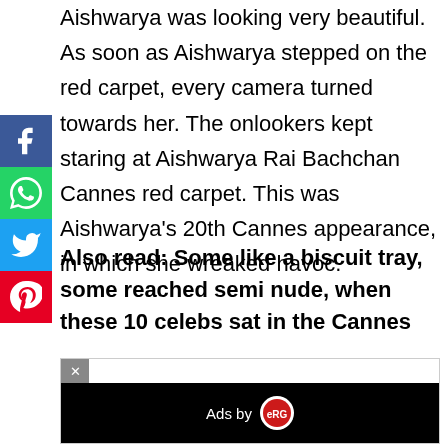Aishwarya was looking very beautiful. As soon as Aishwarya stepped on the red carpet, every camera turned towards her. The onlookers kept staring at Aishwarya Rai Bachchan Cannes red carpet. This was Aishwarya's 20th Cannes appearance, in which she wreaked havoc.
[Figure (infographic): Vertical social sharing buttons: Facebook (blue), WhatsApp (green), Twitter (blue), Pinterest (red)]
Also read: Some like a biscuit tray, some reached semi nude, when these 10 celebs sat in the Cannes
[Figure (screenshot): Advertisement banner with close button (x), black background, 'Ads by' label with circular logo, and a close X on the right]